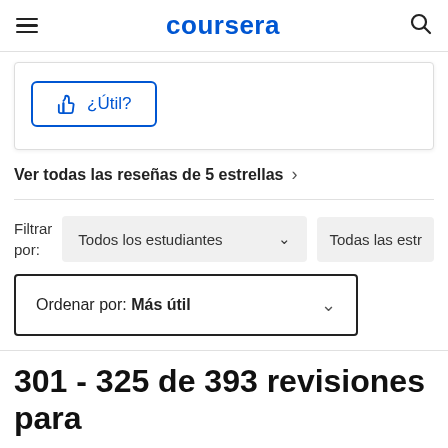coursera
[Figure (screenshot): Thumbs up button labeled ¿Útil? with blue border]
Ver todas las reseñas de 5 estrellas >
Filtrar por: Todos los estudiantes ∨  Todas las estr
Ordenar por: Más útil ∨
301 - 325 de 393 revisiones para